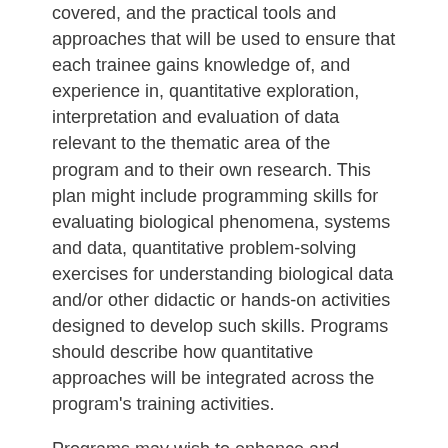covered, and the practical tools and approaches that will be used to ensure that each trainee gains knowledge of, and experience in, quantitative exploration, interpretation and evaluation of data relevant to the thematic area of the program and to their own research. This plan might include programming skills for evaluating biological phenomena, systems and data, quantitative problem-solving exercises for understanding biological data and/or other didactic or hands-on activities designed to develop such skills. Programs should describe how quantitative approaches will be integrated across the program's training activities.
Programs may wish to enhance and expand upon their current offerings for developing quantitative skills and literacy. Funds may be requested to bring in experts to conduct workshops or other activities to enhance training in this area. To be eligible for these funds, applications must include a detailed plan for the proposed activities.
Program-Wide Meetings: Experimental Design, Statistics and Quantitative Literacy
Describe plans for ensuring that trainees and program faculty meet regularly as a group to discuss and evaluate the experimental and statistical approaches used in their own work